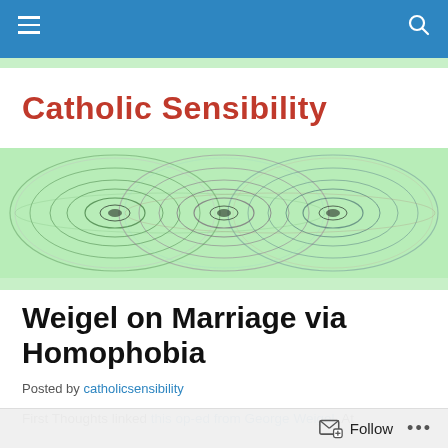Catholic Sensibility — navigation bar
Catholic Sensibility
[Figure (illustration): Decorative banner image with colorful concentric wave/interference pattern on a light green background]
Weigel on Marriage via Homophobia
Posted by catholicsensibility
First Thoughts linked this op-ed from George Weigel. At
Follow ...